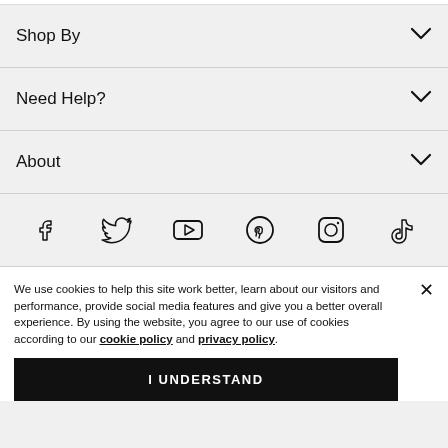Shop By
Need Help?
About
[Figure (other): Social media icons row: Facebook, Twitter, YouTube, Pinterest, Instagram, TikTok]
We use cookies to help this site work better, learn about our visitors and performance, provide social media features and give you a better overall experience. By using the website, you agree to our use of cookies according to our cookie policy and privacy policy.
I UNDERSTAND